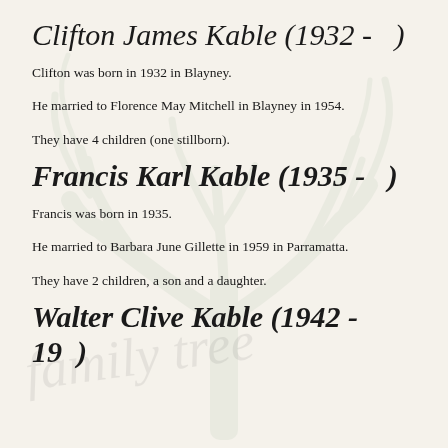Clifton James Kable (1932 -   )
Clifton was born in 1932 in Blayney.
He married to Florence May Mitchell in Blayney in 1954.
They have 4 children (one stillborn).
Francis Karl Kable (1935 -   )
Francis was born in 1935.
He married to Barbara June Gillette in 1959 in Parramatta.
They have 2 children, a son and a daughter.
Walter Clive Kable (1942 - 19  )